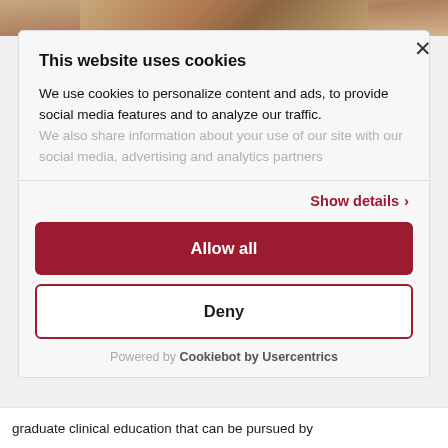[Figure (photo): Partial image of a person visible at top of page, cropped]
This website uses cookies
We use cookies to personalize content and ads, to provide social media features and to analyze our traffic. We also share information about your use of our site with our social media, advertising and analytics partners
Show details >
Allow all
Deny
Powered by Cookiebot by Usercentrics
graduate clinical education that can be pursued by